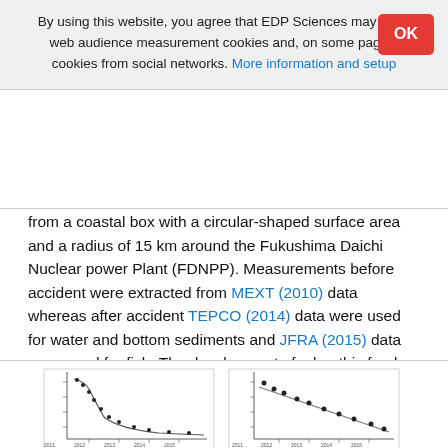By using this website, you agree that EDP Sciences may store web audience measurement cookies and, on some pages, cookies from social networks. More information and setup
from a coastal box with a circular-shaped surface area and a radius of 15 km around the Fukushima Daichi Nuclear power Plant (FDNPP). Measurements before accident were extracted from MEXT (2010) data whereas after accident TEPCO (2014) data were used for water and bottom sediments and JFRA (2015) data were used for fish. The development of a benthic food web model allows for a wider range of fish species to be considered. The geometric mean ratio for the simulated-to-observed values is in the range of 0.93–1.19. The detailed comparisons with observations are given by Maderich et al. (2014a, b) and Bezhenar et al. (2016).
[Figure (other): Scientific plots showing simulation vs observation data, appears to show time series or decay curves in multiple panels]